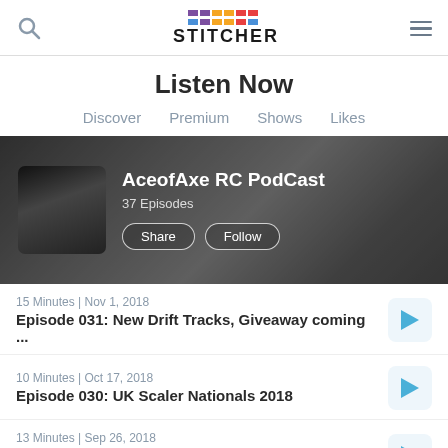Stitcher - Listen Now
Listen Now
Discover  Premium  Shows  Likes
[Figure (screenshot): Podcast banner for AceofAxe RC PodCast showing a grayscale background photo of an RC car, a small square podcast artwork, title 'AceofAxe RC PodCast', '37 Episodes', and Share/Follow buttons]
15 Minutes | Nov 1, 2018
Episode 031: New Drift Tracks, Giveaway coming ...
10 Minutes | Oct 17, 2018
Episode 030: UK Scaler Nationals 2018
13 Minutes | Sep 26, 2018
Episode 029: Joshua Rogers (A Non-RC guys take ...
18 Minutes | Sep 14, 2018